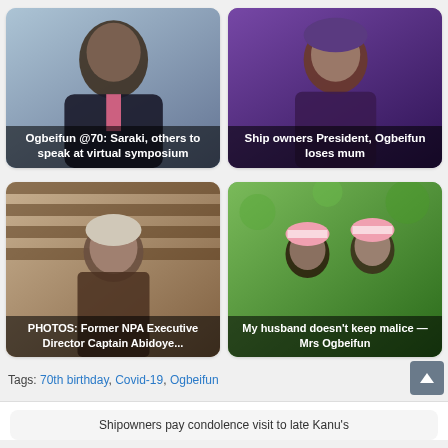[Figure (photo): Man in suit with pink tie - article thumbnail for Ogbeifun @70: Saraki, others to speak at virtual symposium]
[Figure (photo): Elderly woman in purple/blue traditional attire - article thumbnail for Ship owners President, Ogbeifun loses mum]
[Figure (photo): Man in traditional cap - article thumbnail for PHOTOS: Former NPA Executive Director Captain Abidoye...]
[Figure (photo): Couple in pink/white striped hats - article thumbnail for My husband doesn't keep malice — Mrs Ogbeifun]
Tags: 70th birthday, Covid-19, Ogbeifun
Shipowners pay condolence visit to late Kanu's